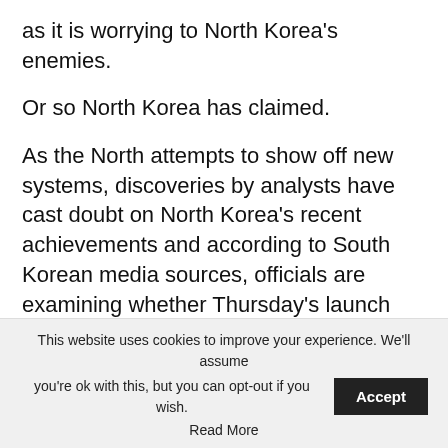as it is worrying to North Korea’s enemies.
Or so North Korea has claimed.
As the North attempts to show off new systems, discoveries by analysts have cast doubt on North Korea’s recent achievements and according to South Korean media sources, officials are examining whether Thursday’s launch was of the type of missile that North Korea claimed.
Thursday’s launch looked like the successful test of a new missile type, a heavy ICBM, rumoured to
This website uses cookies to improve your experience. We’ll assume you’re ok with this, but you can opt-out if you wish. Accept Read More